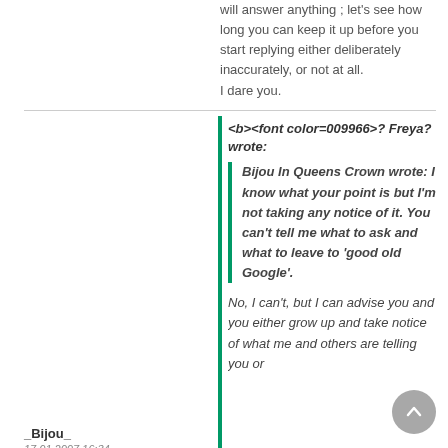will answer anything ; let's see how long you can keep it up before you start replying either deliberately inaccurately, or not at all.
I dare you.
_Bijou_
17.01.2007 16:34
<b><font color=009966>? Freya? wrote:

Bijou In Queens Crown wrote: I know what your point is but I'm not taking any notice of it. You can't tell me what to ask and what to leave to 'good old Google'.

No, I can't, but I can advise you and you either grow up and take notice of what me and others are telling you or